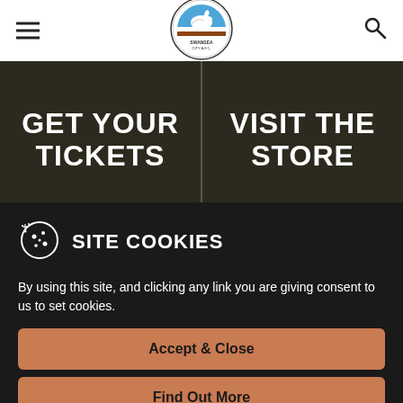[Figure (logo): Swansea City AFC circular badge logo with swan and blue/white/brown colors]
GET YOUR TICKETS
VISIT THE STORE
SITE COOKIES
By using this site, and clicking any link you are giving consent to us to set cookies.
Accept & Close
Find Out More